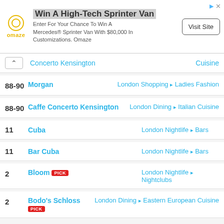[Figure (other): Omaze advertisement banner: Win A High-Tech Sprinter Van. Enter For Your Chance To Win A Mercedes® Sprinter Van With $80,000 In Customizations. Omaze. Visit Site button.]
Concerto Kensington | Cuisine
88-90 | Morgan | London Shopping > Ladies Fashion
88-90 | Caffe Concerto Kensington | London Dining > Italian Cuisine
11 | Cuba | London Nightlife > Bars
11 | Bar Cuba | London Nightlife > Bars
2 | Bloom PICK | London Nightlife > Nightclubs
2 | Bodo's Schloss PICK | London Dining > Eastern European Cuisine